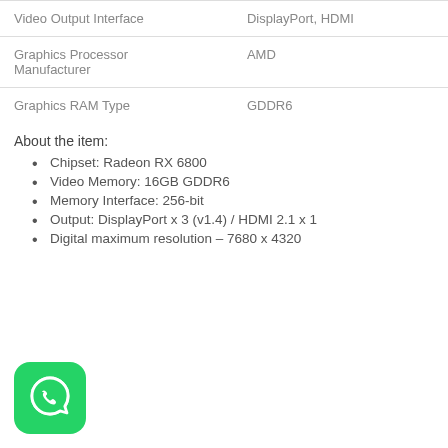|  |  |
| --- | --- |
| Video Output Interface | DisplayPort, HDMI |
| Graphics Processor Manufacturer | AMD |
| Graphics RAM Type | GDDR6 |
About the item:
Chipset: Radeon RX 6800
Video Memory: 16GB GDDR6
Memory Interface: 256-bit
Output: DisplayPort x 3 (v1.4) / HDMI 2.1 x 1
Digital maximum resolution – 7680 x 4320
[Figure (logo): WhatsApp logo icon — green rounded square with white phone/speech bubble symbol]